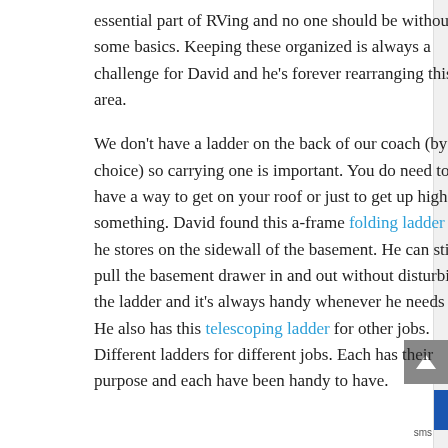essential part of RVing and no one should be without some basics. Keeping these organized is always a challenge for David and he's forever rearranging this area.
We don't have a ladder on the back of our coach (by choice) so carrying one is important. You do need to have a way to get on your roof or just to get up high for something. David found this a-frame folding ladder that he stores on the sidewall of the basement. He can still pull the basement drawer in and out without disturbing the ladder and it's always handy whenever he needs it. He also has this telescoping ladder for other jobs. Different ladders for different jobs. Each has their purpose and each have been handy to have.